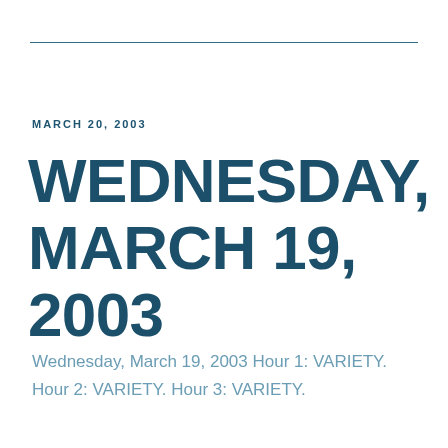MARCH 20, 2003
WEDNESDAY, MARCH 19, 2003
Wednesday, March 19, 2003 Hour 1: VARIETY. Hour 2: VARIETY. Hour 3: VARIETY.